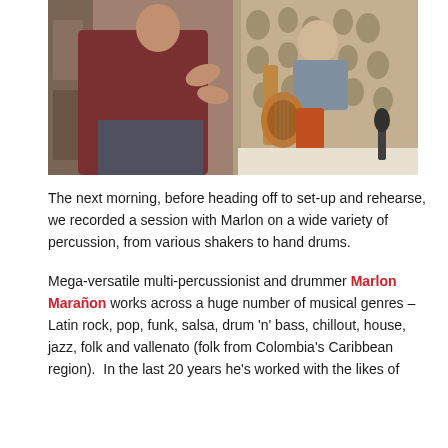[Figure (photo): Two musicians in a room: on the left, a person in a dark red top gesturing with hands; on the right, a person in a grey polo shirt playing an acoustic guitar while seated on a bed, with a decorative perforated screen partition between them.]
The next morning, before heading off to set-up and rehearse, we recorded a session with Marlon on a wide variety of percussion, from various shakers to hand drums.
Mega-versatile multi-percussionist and drummer Marlon Marañon works across a huge number of musical genres – Latin rock, pop, funk, salsa, drum 'n' bass, chillout, house, jazz, folk and vallenato (folk from Colombia's Caribbean region). In the last 20 years he's worked with the likes of